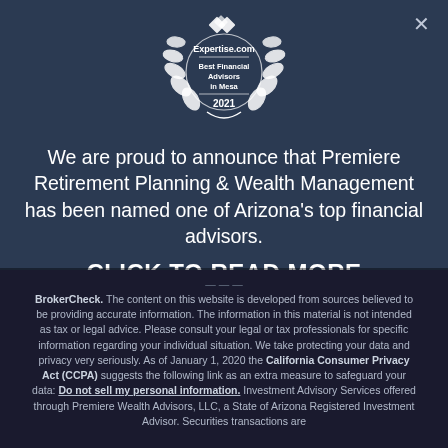[Figure (logo): Expertise.com badge - Best Financial Advisors in Mesa 2021, white laurel wreath badge on dark blue background]
We are proud to announce that Premiere Retirement Planning & Wealth Management has been named one of Arizona's top financial advisors.
CLICK TO READ MORE
BrokerCheck. The content on this website is developed from sources believed to be providing accurate information. The information in this material is not intended as tax or legal advice. Please consult your legal or tax professionals for specific information regarding your individual situation. We take protecting your data and privacy very seriously. As of January 1, 2020 the California Consumer Privacy Act (CCPA) suggests the following link as an extra measure to safeguard your data: Do not sell my personal information. Investment Advisory Services offered through Premiere Wealth Advisors, LLC, a State of Arizona Registered Investment Advisor. Securities transactions are